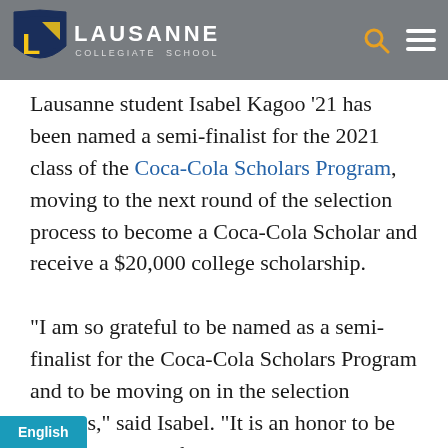LAUSANNE COLLEGIATE SCHOOL
Lausanne student Isabel Kagoo '21 has been named a semi-finalist for the 2021 class of the Coca-Cola Scholars Program, moving to the next round of the selection process to become a Coca-Cola Scholar and receive a $20,000 college scholarship.

"I am so grateful to be named as a semi-finalist for the Coca-Cola Scholars Program and to be moving on in the selection process," said Isabel. "It is an honor to be recognized out of over a hundred thousand applicants as a leader in my community and an overall well-rounded student, by the selection committee. This would not be possible if not for all of my supportive teachers, throughout the years